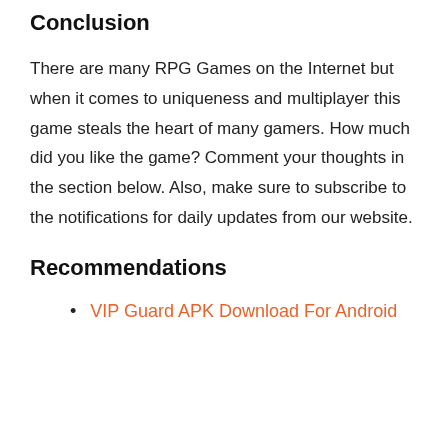Conclusion
There are many RPG Games on the Internet but when it comes to uniqueness and multiplayer this game steals the heart of many gamers. How much did you like the game? Comment your thoughts in the section below. Also, make sure to subscribe to the notifications for daily updates from our website.
Recommendations
VIP Guard APK Download For Android